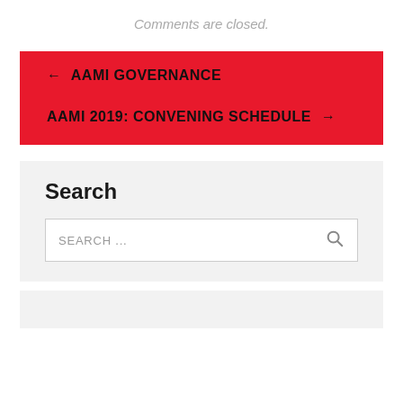Comments are closed.
← AAMI GOVERNANCE
AAMI 2019: CONVENING SCHEDULE →
Search
SEARCH ...